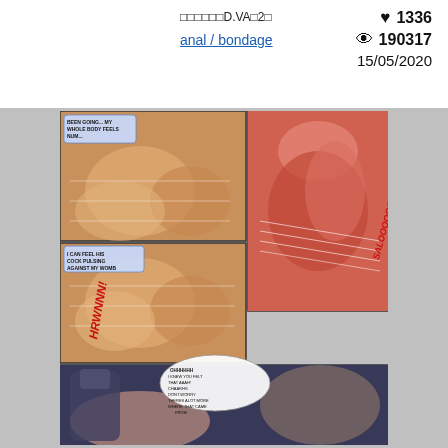D.VA 2
anal / bondage
♥ 1336
◎ 190317
15/05/2020
[Figure (illustration): Adult comic/manga page showing explicit animated content panels with speech bubbles and sound effects including HRWNNN and SALOOOOSH]